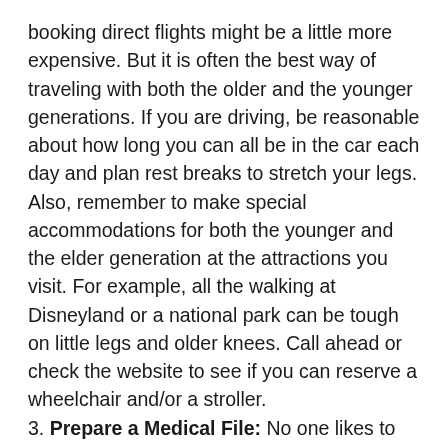booking direct flights might be a little more expensive. But it is often the best way of traveling with both the older and the younger generations. If you are driving, be reasonable about how long you can all be in the car each day and plan rest breaks to stretch your legs. Also, remember to make special accommodations for both the younger and the elder generation at the attractions you visit. For example, all the walking at Disneyland or a national park can be tough on little legs and older knees. Call ahead or check the website to see if you can reserve a wheelchair and/or a stroller.
3. Prepare a Medical File: No one likes to think the worst will happen during vacation. But planning ahead in case an older loved one